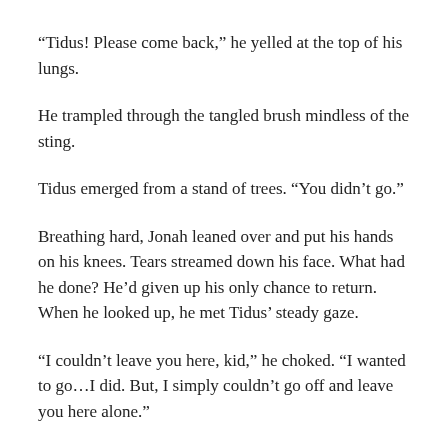“Tidus! Please come back,” he yelled at the top of his lungs.
He trampled through the tangled brush mindless of the sting.
Tidus emerged from a stand of trees. “You didn’t go.”
Breathing hard, Jonah leaned over and put his hands on his knees. Tears streamed down his face. What had he done? He’d given up his only chance to return. When he looked up, he met Tidus’ steady gaze.
“I couldn’t leave you here, kid,” he choked. “I wanted to go…I did. But, I simply couldn’t go off and leave you here alone.”